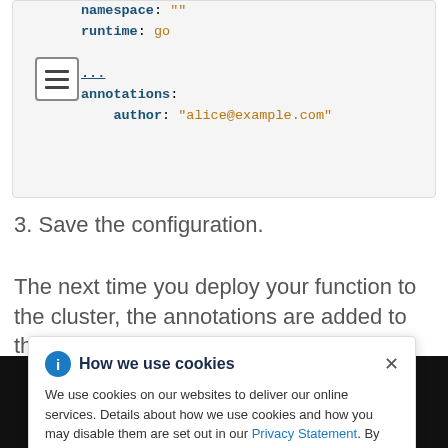[Figure (screenshot): Code block showing YAML configuration with namespace, runtime, annotations and author fields]
3. Save the configuration.
The next time you deploy your function to the cluster, the annotations are added to the corresponding
[Figure (screenshot): Cookie consent banner overlay reading: How we use cookies. We use cookies on our websites to deliver our online services. Details about how we use cookies and how you may disable them are set out in our Privacy Statement. By using this website you agree to our use of cookies.]
Cookie Preferences